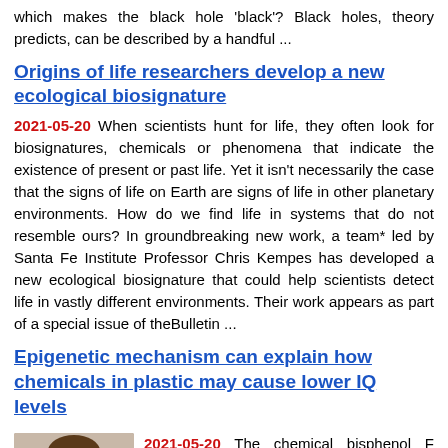which makes the black hole 'black'? Black holes, theory predicts, can be described by a handful ...
Origins of life researchers develop a new ecological biosignature
2021-05-20 When scientists hunt for life, they often look for biosignatures, chemicals or phenomena that indicate the existence of present or past life. Yet it isn't necessarily the case that the signs of life on Earth are signs of life in other planetary environments. How do we find life in systems that do not resemble ours? In groundbreaking new work, a team* led by Santa Fe Institute Professor Chris Kempes has developed a new ecological biosignature that could help scientists detect life in vastly different environments. Their work appears as part of a special issue of theBulletin ...
Epigenetic mechanism can explain how chemicals in plastic may cause lower IQ levels
[Figure (photo): Photo of a woman with long hair, used as article thumbnail for the epigenetics article]
2021-05-20 The chemical bisphenol F (found in plastics) can induce changes in ... that in vitality for research and its...